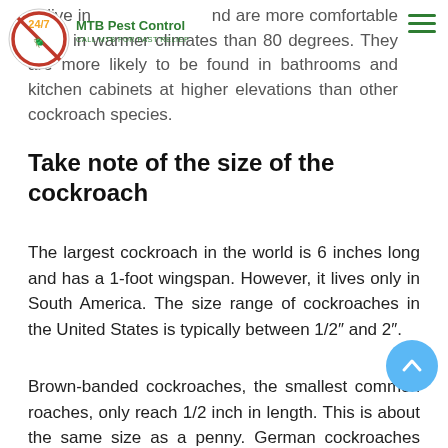MTB Pest Control — CALL MTB FOR FAST RELIEF
to live in and are more comfortable living in warmer climates than 80 degrees. They are more likely to be found in bathrooms and kitchen cabinets at higher elevations than other cockroach species.
Take note of the size of the cockroach
The largest cockroach in the world is 6 inches long and has a 1-foot wingspan. However, it lives only in South America. The size range of cockroaches in the United States is typically between 1/2″ and 2″.
Brown-banded cockroaches, the smallest common roaches, only reach 1/2 inch in length. This is about the same size as a penny. German cockroaches can grow to